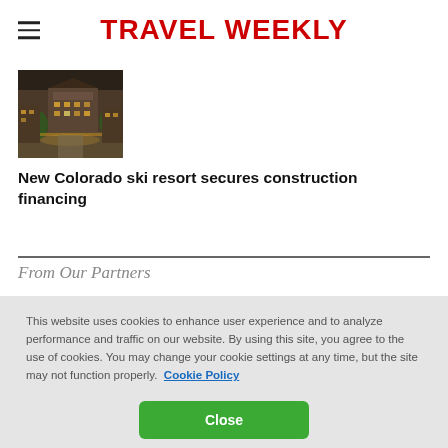TRAVEL WEEKLY
[Figure (photo): Aerial view of a Colorado ski resort development with buildings and outdoor spaces lit up at night]
New Colorado ski resort secures construction financing
From Our Partners
This website uses cookies to enhance user experience and to analyze performance and traffic on our website. By using this site, you agree to the use of cookies. You may change your cookie settings at any time, but the site may not function properly.  Cookie Policy